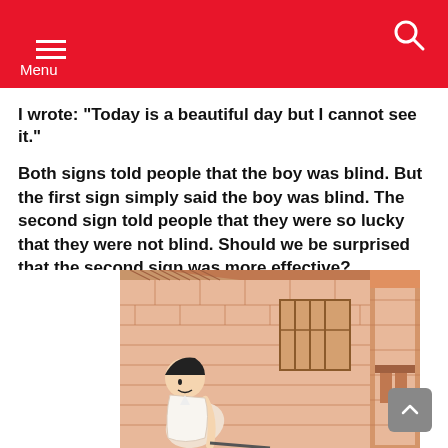Menu
I wrote: "Today is a beautiful day but I cannot see it."
Both signs told people that the boy was blind. But the first sign simply said the boy was blind. The second sign told people that they were so lucky that they were not blind. Should we be surprised that the second sign was more effective?
[Figure (illustration): Hand-drawn illustration of a person leaning forward near a brick building with a window and a door]